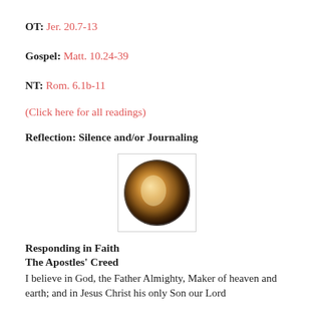OT: Jer. 20.7-13
Gospel: Matt. 10.24-39
NT: Rom. 6.1b-11
(Click here for all readings)
Reflection: Silence and/or Journaling
[Figure (photo): A circular image showing a close-up of a hand or candle in warm golden/brown tones, displayed in a square border box.]
Responding in Faith
The Apostles' Creed
I believe in God, the Father Almighty, Maker of heaven and earth; and in Jesus Christ his only Son our Lord